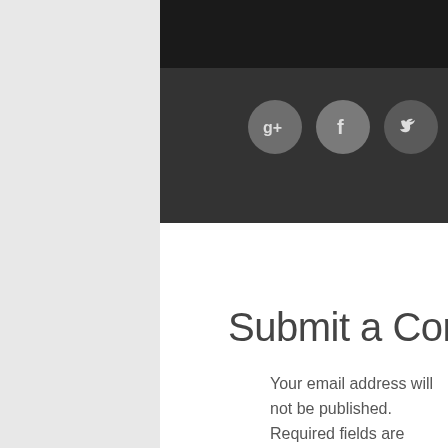[Figure (other): Dark navigation bar with three social media icon buttons: Google+, Facebook (f), and Twitter (bird icon), displayed as circular grey buttons on a dark background]
Submit a Comment
Your email address will not be published. Required fields are marked *